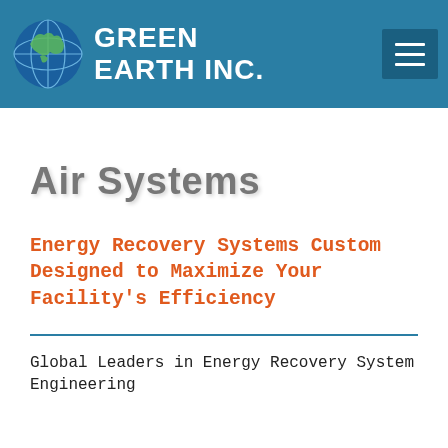Green Earth Inc.
Air Systems
Energy Recovery Systems Custom Designed to Maximize Your Facility's Efficiency
Global Leaders in Energy Recovery System Engineering